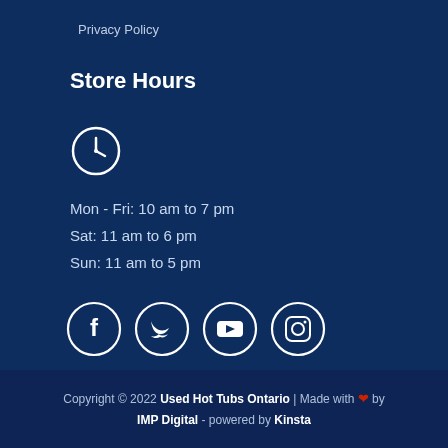Privacy Policy
Store Hours
[Figure (illustration): Clock icon — white circle with clock face]
Mon - Fri: 10 am to 7 pm
Sat: 11 am to 6 pm
Sun: 11 am to 5 pm
[Figure (illustration): Social media icons row: Facebook, Twitter, YouTube, Instagram — all white on dark blue circles]
Copyright © 2022 Used Hot Tubs Ontario | Made with ❤ by IMP Digital - powered by Kinsta